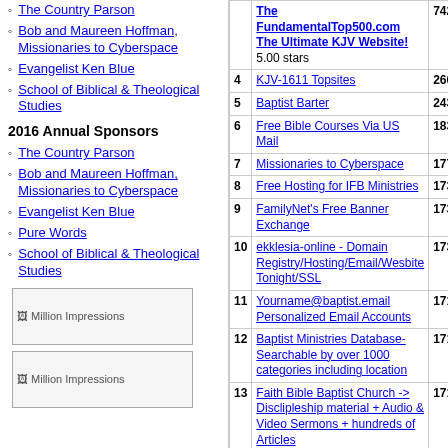The Country Parson
Bob and Maureen Hoffman, Missionaries to Cyberspace
Evangelist Ken Blue
School of Biblical & Theological Studies
2016 Annual Sponsors
The Country Parson
Bob and Maureen Hoffman, Missionaries to Cyberspace
Evangelist Ken Blue
Pure Words
School of Biblical & Theological Studies
[Figure (other): Million Impressions banner ad placeholder]
[Figure (other): Million Impressions banner ad placeholder]
| # | Site | In | Out |
| --- | --- | --- | --- |
|  | The FundamentalTop500.com The Ultimate KJV Website! 5.00 stars | 742 |  |
| 4 | KJV-1611 Topsites | 260 | 46 |
| 5 | Baptist Barter | 243 | 34 |
| 6 | Free Bible Courses Via US Mail | 183 | 30 |
| 7 | Missionaries to Cyberspace | 177 | 29 |
| 8 | Free Hosting for IFB Ministries | 173 | 29 |
| 9 | FamilyNet's Free Banner Exchange | 173 | 28 |
| 10 | ekklesia-online - Domain Registry/Hosting/Email/Wesbite Tonight/SSL | 173 | 28 |
| 11 | Yourname@baptist.email Personalized Email Accounts | 171 | 28 |
| 12 | Baptist Ministries Database-Searchable by over 1000 categories including location | 171 | 29 |
| 13 | Faith Bible Baptist Church -> Disclipleship material + Audio & Video Sermons + hundreds of Articles | 171 | 46 |
| 14 | Bible Truth | 168 | 50 |
| 15 | The Lion of Judah - Online Audio, Video, and News Affecting the Body of Christ | 167 | 56 |
| 16 | The Preachers Corner Org. Inc. 4.00 stars | 163 | 86 |
| 17 | Soulwinning.info | 156 | 31 |
| 18 | Church Choir Music | 139 | 21 |
| 19 | College of The Open Bible | 121 | 24 |
| 20 | Free Bulletin Insert, Sunday | 70 | 23 |